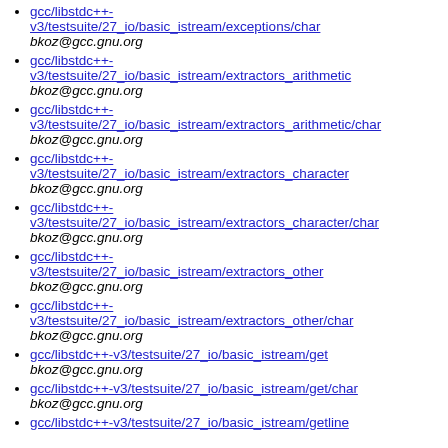gcc/libstdc++-v3/testsuite/27_io/basic_istream/exceptions/char
bkoz@gcc.gnu.org
gcc/libstdc++-v3/testsuite/27_io/basic_istream/extractors_arithmetic
bkoz@gcc.gnu.org
gcc/libstdc++-v3/testsuite/27_io/basic_istream/extractors_arithmetic/char
bkoz@gcc.gnu.org
gcc/libstdc++-v3/testsuite/27_io/basic_istream/extractors_character
bkoz@gcc.gnu.org
gcc/libstdc++-v3/testsuite/27_io/basic_istream/extractors_character/char
bkoz@gcc.gnu.org
gcc/libstdc++-v3/testsuite/27_io/basic_istream/extractors_other
bkoz@gcc.gnu.org
gcc/libstdc++-v3/testsuite/27_io/basic_istream/extractors_other/char
bkoz@gcc.gnu.org
gcc/libstdc++-v3/testsuite/27_io/basic_istream/get
bkoz@gcc.gnu.org
gcc/libstdc++-v3/testsuite/27_io/basic_istream/get/char
bkoz@gcc.gnu.org
gcc/libstdc++-v3/testsuite/27_io/basic_istream/getline
bkoz@gcc.gnu.org